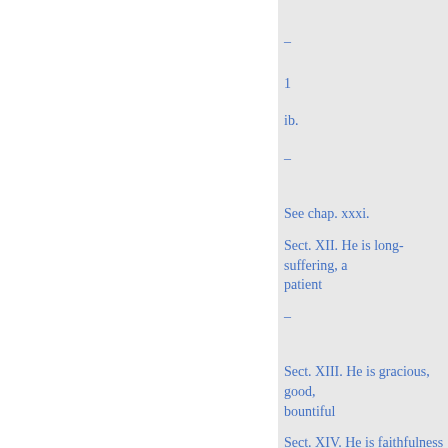–
1
ib.
–
See chap. xxxi.
Sect. XII. He is long-suffering, a patient
–
Sect. XIII. He is gracious, good, bountiful
Sect. XIV. He is faithfulness and truth
Sect. xv. He is unchangeable -
Sect. XVI. He is infinite and unsearchable
Sect. XVII. He is eternal